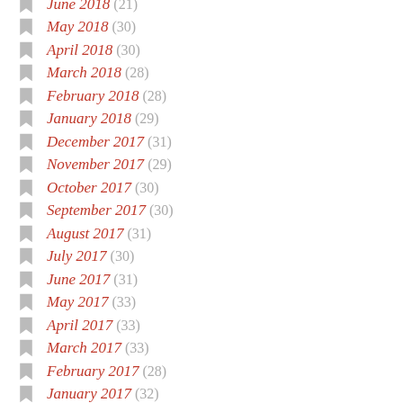June 2018 (21)
May 2018 (30)
April 2018 (30)
March 2018 (28)
February 2018 (28)
January 2018 (29)
December 2017 (31)
November 2017 (29)
October 2017 (30)
September 2017 (30)
August 2017 (31)
July 2017 (30)
June 2017 (31)
May 2017 (33)
April 2017 (33)
March 2017 (33)
February 2017 (28)
January 2017 (32)
December 2016 (60)